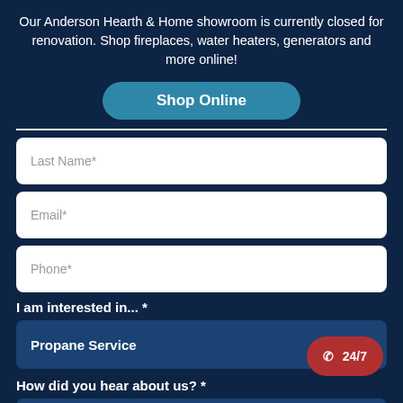Our Anderson Hearth & Home showroom is currently closed for renovation. Shop fireplaces, water heaters, generators and more online!
Shop Online
Last Name*
Email*
Phone*
I am interested in... *
Propane Service
How did you hear about us? *
Mail
✆ 24/7